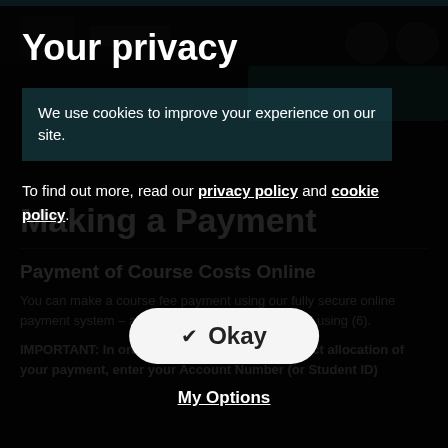[Figure (screenshot): Cookie consent / privacy modal overlay on a dark website. The modal shows 'Your privacy' heading, a cookie notice text box, links to privacy policy and cookie policy, an Okay button, and a My Options link. Behind the modal is a dimmed webpage about 'Making a Payment' and 'Payment of Course Costs Online'.]
Your privacy
We use cookies to improve your experience on our site.
To find out more, read our privacy policy and cookie policy.
Okay
My Options